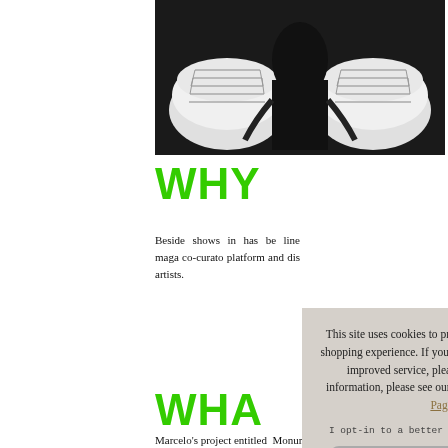[Figure (photo): Black and white photo showing two white sneakers/canvas shoes from above, seen against a dark background, appearing to be a person looking down at their feet.]
WHY
Beside shows in has been line maga co-curato platform and dis artists.
WHA
Marcelo's project entitled Monuments for
[Figure (screenshot): Cookie consent popup overlay with text: 'This site uses cookies to provide and improve your shopping experience. If you want to benefit from this improved service, please opt-in. For more information, please see our Cookies Page. Cookies Page.' followed by 'I opt-in to a better browsing experience' and an 'Accept Cookies' button. There is an X close button in the top right corner.]